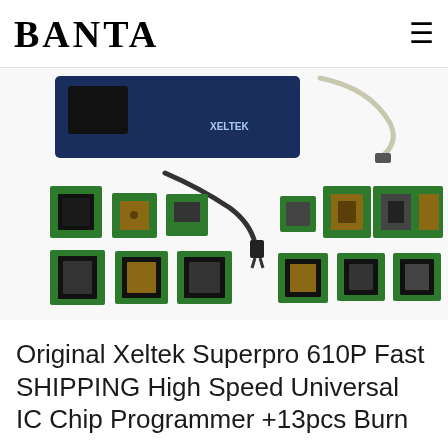BANTA
[Figure (photo): Product photo showing Xeltek Superpro 610P universal IC chip programmer unit (blue/navy rectangular device labeled XELTEK), a USB cable, a power cable, and 13 adapter/socket boards including various IC socket adapters on green PCB boards (DIP, PLCC, QFP, SOIC types) arranged on a white background.]
Original Xeltek Superpro 610P Fast SHIPPING High Speed Universal IC Chip Programmer +13pcs Burn